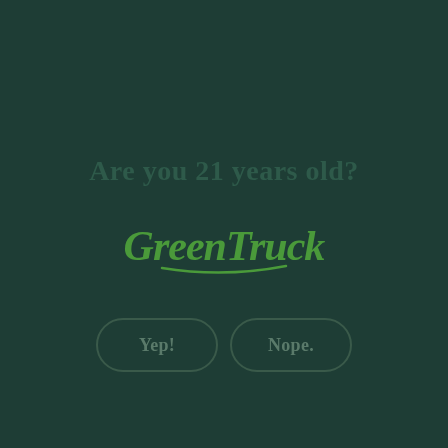Are you 21 years old?
[Figure (logo): GreenTruck script logo in green color]
Yep!
Nope.